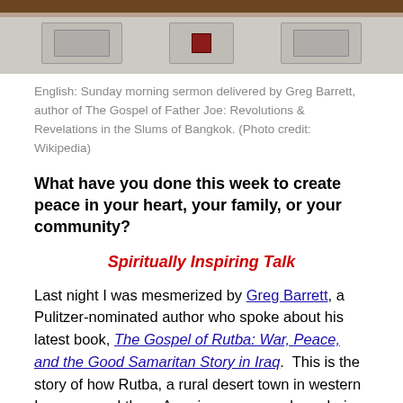[Figure (photo): Photo of a church or hall interior showing a podium/lectern area with wooden paneling and control panels, cropped at top]
English: Sunday morning sermon delivered by Greg Barrett, author of The Gospel of Father Joe: Revolutions & Revelations in the Slums of Bangkok. (Photo credit: Wikipedia)
What have you done this week to create peace in your heart, your family, or your community?
Spiritually Inspiring Talk
Last night I was mesmerized by Greg Barrett, a Pulitzer-nominated author who spoke about his latest book, The Gospel of Rutba: War, Peace, and the Good Samaritan Story in Iraq.  This is the story of how Rutba, a rural desert town in western Iraq, rescued three American peacemakers during the Shock and Awe bombings of